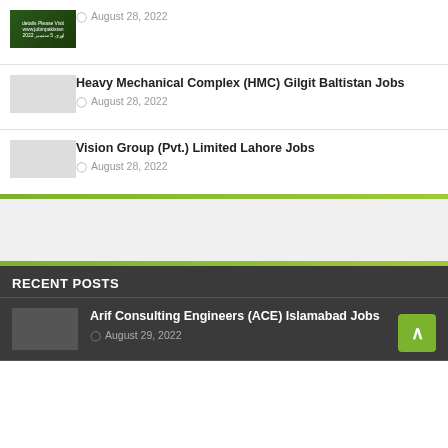August 28, 2022
Heavy Mechanical Complex (HMC) Gilgit Baltistan Jobs
August 28, 2022
Vision Group (Pvt.) Limited Lahore Jobs
August 28, 2022
RECENT POSTS
Arif Consulting Engineers (ACE) Islamabad Jobs
August 29, 2022